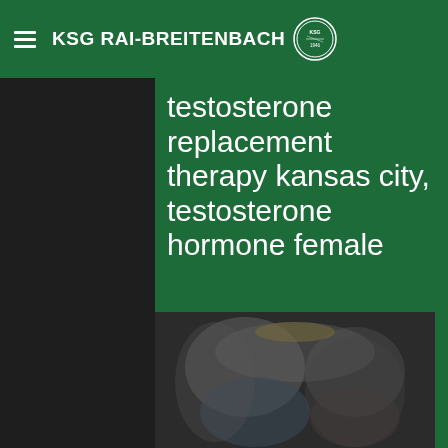KSG RAI-BREITENBACH
testosterone replacement therapy kansas city, testosterone hormone female
Testosterone replacement therapy kansas city, testosterone hormone female - Acheter des stéroïdes anabolisants légaux
[Figure (photo): Blurred photograph of people, appears to show individuals in a dimly lit setting]